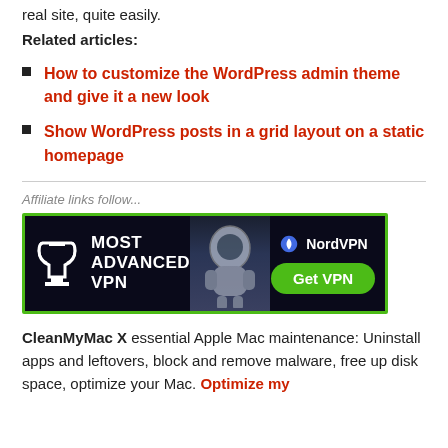real site, quite easily.
Related articles:
How to customize the WordPress admin theme and give it a new look
Show WordPress posts in a grid layout on a static homepage
Affiliate links follow...
[Figure (other): NordVPN advertisement banner: Most Advanced VPN. NordVPN. Get VPN button. Trophy icon and astronaut on moon background.]
CleanMyMac X essential Apple Mac maintenance: Uninstall apps and leftovers, block and remove malware, free up disk space, optimize your Mac. Optimize my